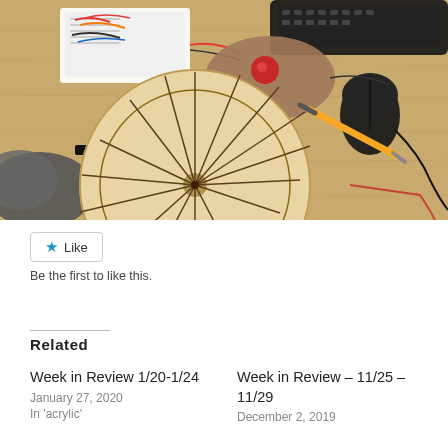[Figure (photo): Photo of a wooden circular disc with laser-cut radial lines on a wooden desk, alongside a breadboard with wires, a computer mouse, keyboard, screwdriver, and an oval board with a red button.]
Like
Be the first to like this.
Related
Week in Review 1/20-1/24
January 27, 2020
In 'acrylic'
Week in Review – 11/25 – 11/29
December 2, 2019